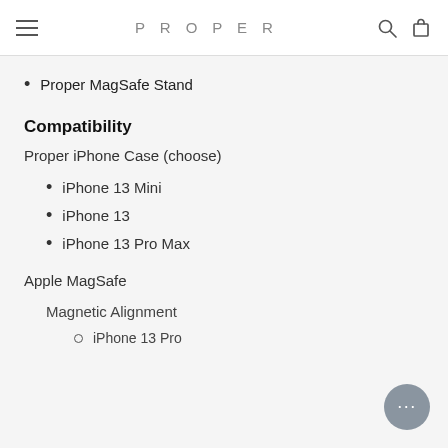PROPER
Proper MagSafe Stand
Compatibility
Proper iPhone Case (choose)
iPhone 13 Mini
iPhone 13
iPhone 13 Pro Max
Apple MagSafe
Magnetic Alignment
iPhone 13 Pro